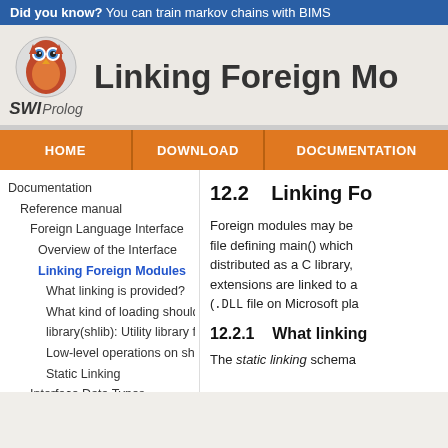Did you know? You can train markov chains with BIMS
[Figure (logo): SWI-Prolog owl logo with text 'SWI Prolog']
Linking Foreign Mo
HOME
DOWNLOAD
DOCUMENTATION
Documentation
Reference manual
Foreign Language Interface
Overview of the Interface
Linking Foreign Modules
What linking is provided?
What kind of loading should I be
library(shlib): Utility library for
Low-level operations on shared
Static Linking
Interface Data Types
The Foreign Include File
12.2    Linking Fo
Foreign modules may be file defining main() which distributed as a C library, extensions are linked to a (.DLL file on Microsoft pla
12.2.1    What linking
The static linking schema